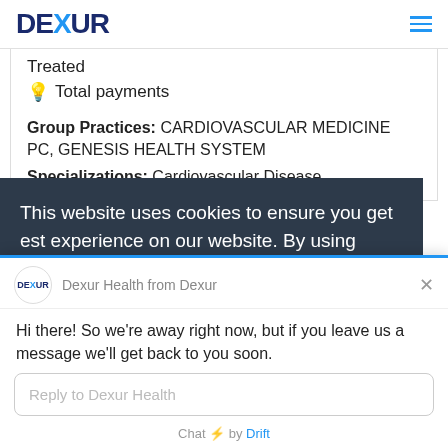DEXUR
Treated
💡 Total payments
Group Practices: CARDIOVASCULAR MEDICINE PC, GENESIS HEALTH SYSTEM
Specializations: Cardiovascular Disease
This website uses cookies to ensure you get [best] experience on our website. By using
Dexur Health from Dexur
Hi there! So we're away right now, but if you leave us a message we'll get back to you soon.
Reply to Dexur Health
Chat ⚡ by Drift